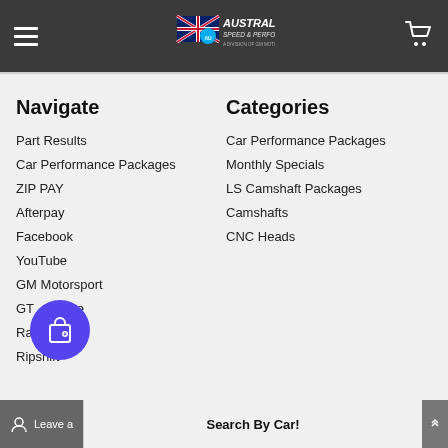[Figure (logo): Australia Speed & Performance logo with UK/AU flag, white text on dark header bar]
Navigate
Part Results
Car Performance Packages
ZIP PAY
Afterpay
Facebook
YouTube
GM Motorsport
GT Performance
Ramjet
Ripshift
Categories
Car Performance Packages
Monthly Specials
LS Camshaft Packages
Camshafts
CNC Heads
Leave a review | Search By Car!